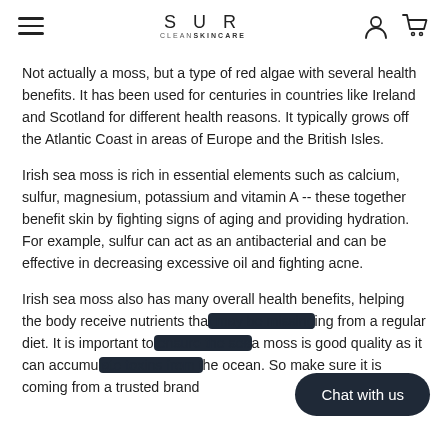SUR CLEANSKINCARE
Not actually a moss, but a type of red algae with several health benefits. It has been used for centuries in countries like Ireland and Scotland for different health reasons. It typically grows off the Atlantic Coast in areas of Europe and the British Isles.
Irish sea moss is rich in essential elements such as calcium, sulfur, magnesium, potassium and vitamin A -- these together benefit skin by fighting signs of aging and providing hydration. For example, sulfur can act as an antibacterial and can be effective in decreasing excessive oil and fighting acne.
Irish sea moss also has many overall health benefits, helping the body receive nutrients tha[t may be missing ]ing from a regular diet. It is important to[ ensure the sea ]a moss is good quality as it can accumu[late toxins from t]he ocean. So make sure it is coming from a trusted brand